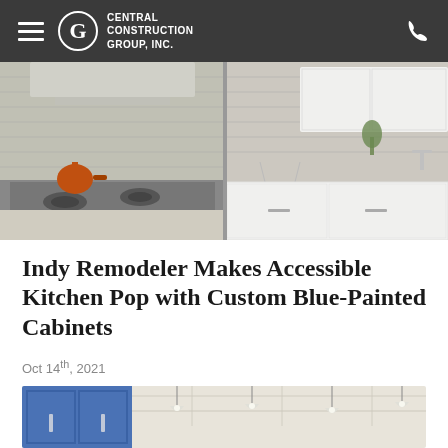CENTRAL CONSTRUCTION GROUP, INC.
[Figure (photo): Kitchen interior with stainless steel range, copper kettle, white cabinetry, gray tile backsplash, and granite countertops. Two views side by side.]
Indy Remodeler Makes Accessible Kitchen Pop with Custom Blue-Painted Cabinets
Oct 14th, 2021
[Figure (photo): Interior room showing bright blue painted cabinets with panel detailing and pendant lighting with white cone shades hanging from a white ceiling grid.]